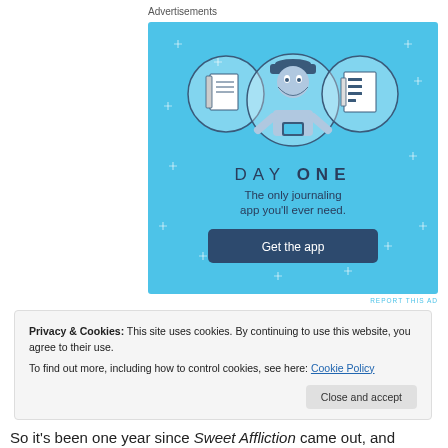Advertisements
[Figure (illustration): Day One journaling app advertisement. Blue background with sparkle dots. Three circular icons: a notebook on the left, a cartoon person holding a phone in the center, and a to-do list on the right. Text: DAY ONE — The only journaling app you'll ever need. Button: Get the app.]
REPORT THIS AD
Privacy & Cookies: This site uses cookies. By continuing to use this website, you agree to their use.
To find out more, including how to control cookies, see here: Cookie Policy
Close and accept
So it’s been one year since Sweet Affliction came out, and